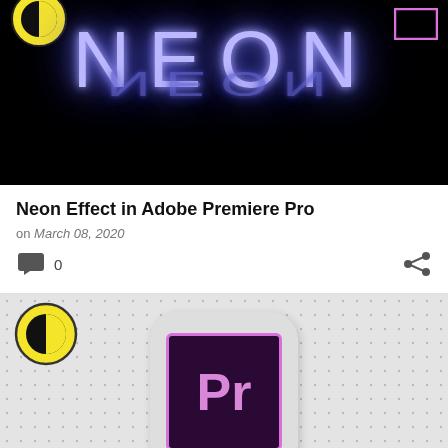[Figure (screenshot): Neon text effect banner showing 'NEON' in glowing blue/purple neon letters on black background with reflection]
Neon Effect in Adobe Premiere Pro
on March 08, 2020
0
[Figure (screenshot): Adobe Premiere Pro app icon on a grey dotted background with yellow circle logo in top-left]